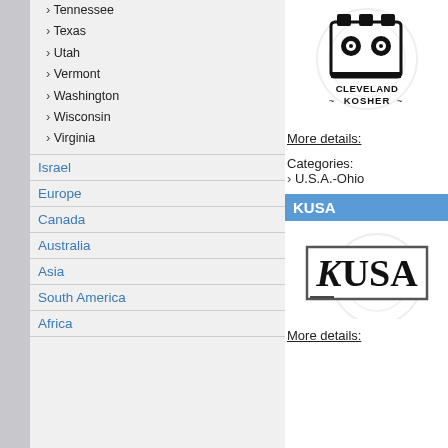Tennessee
Texas
Utah
Vermont
Washington
Wisconsin
Virginia
Israel
Europe
Canada
Australia
Asia
South America
Africa
[Figure (logo): Cleveland Kosher certification logo — stylized building/crown symbol above text CLEVELAND KOSHER]
More details:
Categories:
› U.S.A.-Ohio
KUSA
[Figure (logo): KUSA logo — USA text in serif font with decorative K, inside a rectangle border]
More details: